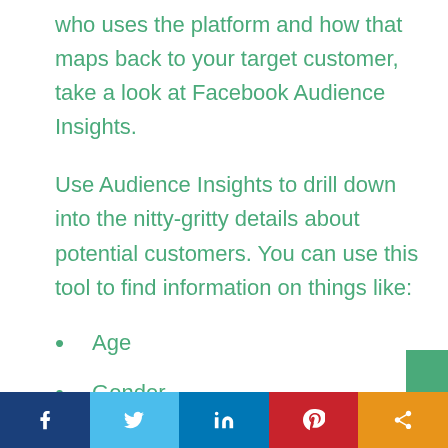who uses the platform and how that maps back to your target customer, take a look at Facebook Audience Insights.
Use Audience Insights to drill down into the nitty-gritty details about potential customers. You can use this tool to find information on things like:
Age
Gender
Education
Relationship status